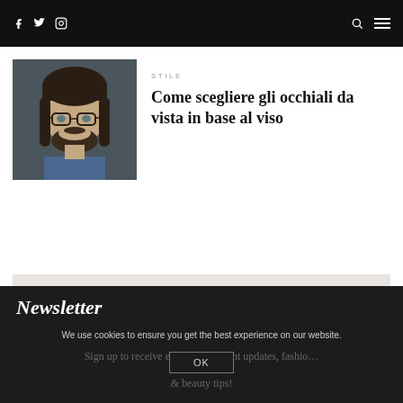Social icons: Facebook, Twitter, Instagram | Search | Menu
[Figure (photo): Portrait photo of a man with glasses, beard, and long hair wearing a blue shirt — dark-toned photograph]
STILE
Come scegliere gli occhiali da vista in base al viso
Newsletter
We use cookies to ensure you get the best experience on our website.
Sign up to receive exclusive content updates, fashio... & beauty tips!
OK